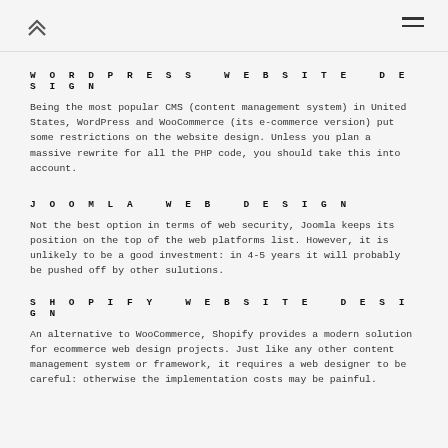WORDPRESS WEBSITE DESIGN
Being the most popular CMS (content management system) in United States, WordPress and WooCommerce (its e-commerce version) put some restrictions on the website design. Unless you plan a massive rewrite for all the PHP code, you should take this into account.
JOOMLA WEB DESIGN
Not the best option in terms of web security, Joomla keeps its position on the top of the web platforms list. However, it is unlikely to be a good investment: in 4-5 years it will probably be pushed off by other sulutions.
SHOPIFY WEBSITE DESIGN
An alternative to WooCommerce, Shopify provides a modern solution for ecommerce web design projects. Just like any other content management system or framework, it requires a web designer to be careful: otherwise the implementation costs may be painful.